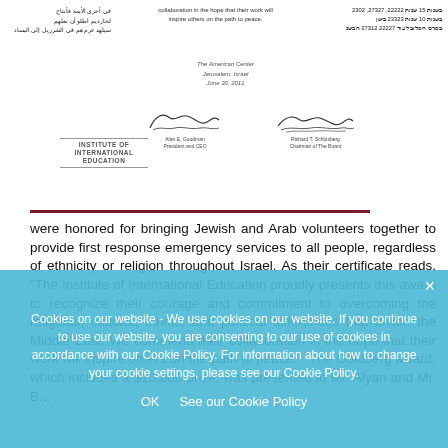[Figure (other): Document header with Arabic text on left, English certificate text in center, Hebrew text on right, IIE logo, two signatures, date and address for The American Center Jerusalem Israel June 30 2011]
were honored for bringing Jewish and Arab volunteers together to provide first response emergency services to all people, regardless of ethnicity or religion throughout Israel. As their certificate reads, "The Institute of International Education proudly presents this award to recognize their courage and commitment to overcoming the religious, cultural, ethnic, and political differences that divide the Middle East. We commend their collaboration in the hope that their work will inspire others on the path to peace."  The Goldberg award, which includes a $10,000 prize, was presented to Mr. Alyan and Mr. B...
Cookies on our website - We use cookies on our website. If you continue to use our website, you are consenting to our use of cookies in accordance with our Cookie Policy. For information about how to change your cookie settings, please see our Cookie Policy.
OK   See our Cookie Policy